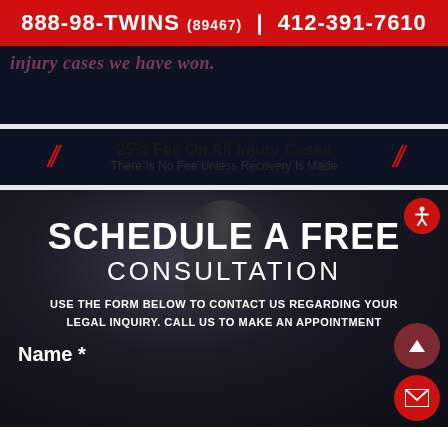888-98-TWINS (89467)  |  412-391-7610
injury cases we have won.
25% Fee On All Injury Cases
There Is No Fee Unless Recovery Is Made
SCHEDULE A FREE CONSULTATION
USE THE FORM BELOW TO CONTACT US REGARDING YOUR LEGAL INQUIRY. CALL US TO MAKE AN APPOINTMENT
Name *